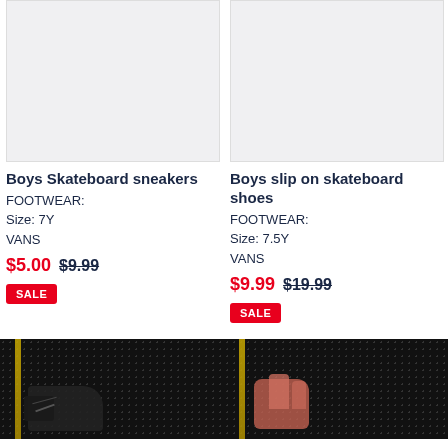[Figure (photo): Product image placeholder (light gray background) for Boys Skateboard sneakers]
[Figure (photo): Product image placeholder (light gray background) for Boys slip on skateboard shoes]
Boys Skateboard sneakers
FOOTWEAR:
Size: 7Y
VANS
$5.00 $9.99
SALE
Boys slip on skateboard shoes
FOOTWEAR:
Size: 7.5Y
VANS
$9.99 $19.99
SALE
[Figure (photo): Dark pegboard background with black shoe and yellow ruler on left side]
[Figure (photo): Dark pegboard background with pink/red item and yellow ruler on left side]